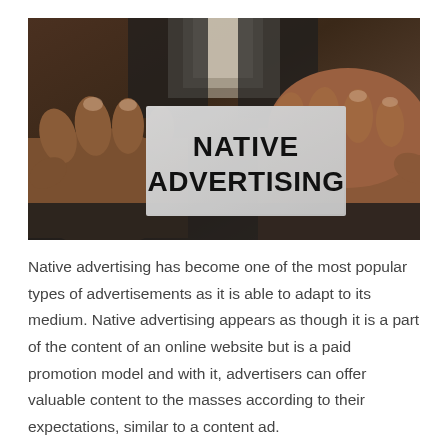[Figure (photo): A person in a dark business suit holding a small card that reads 'NATIVE ADVERTISING' in bold black text on a light grey background.]
Native advertising has become one of the most popular types of advertisements as it is able to adapt to its medium. Native advertising appears as though it is a part of the content of an online website but is a paid promotion model and with it, advertisers can offer valuable content to the masses according to their expectations, similar to a content ad.